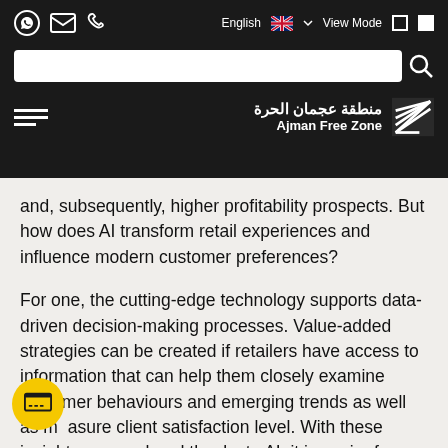[Figure (screenshot): Ajman Free Zone website header with navigation bar containing WhatsApp, email, phone icons; search bar; language selector showing English with UK flag; View Mode toggle; hamburger menu; Ajman Free Zone logo in Arabic and English with striped emblem.]
and, subsequently, higher profitability prospects. But how does AI transform retail experiences and influence modern customer preferences?
For one, the cutting-edge technology supports data-driven decision-making processes. Value-added strategies can be created if retailers have access to information that can help them closely examine customer behaviours and emerging trends as well as measure client satisfaction level. With these insights now on hand thanks to AI, it is easier for retailers to